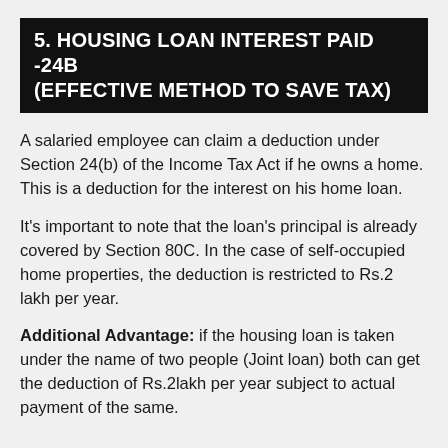5. HOUSING LOAN INTEREST PAID -24B (EFFECTIVE METHOD TO SAVE TAX)
A salaried employee can claim a deduction under Section 24(b) of the Income Tax Act if he owns a home. This is a deduction for the interest on his home loan.
It's important to note that the loan's principal is already covered by Section 80C. In the case of self-occupied home properties, the deduction is restricted to Rs.2 lakh per year.
Additional Advantage: if the housing loan is taken under the name of two people (Joint loan) both can get the deduction of Rs.2lakh per year subject to actual payment of the same.